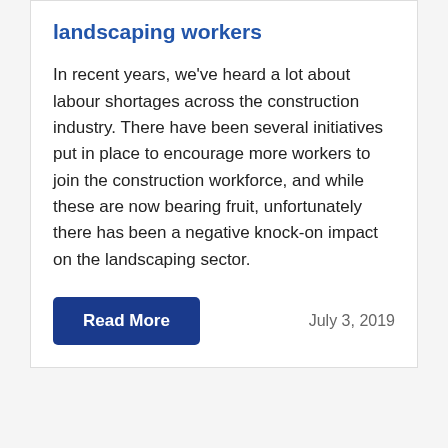landscaping workers
In recent years, we've heard a lot about labour shortages across the construction industry. There have been several initiatives put in place to encourage more workers to join the construction workforce, and while these are now bearing fruit, unfortunately there has been a negative knock-on impact on the landscaping sector.
Read More
July 3, 2019